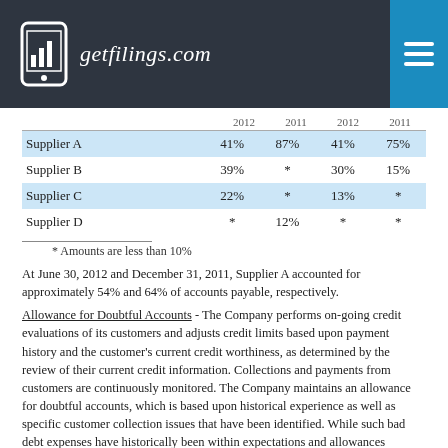getfilings.com
|  | 2012 | 2011 | 2012 | 2011 |
| --- | --- | --- | --- | --- |
| Supplier A | 41% | 87% | 41% | 75% |
| Supplier B | 39% | * | 30% | 15% |
| Supplier C | 22% | * | 13% | * |
| Supplier D | * | 12% | * | * |
* Amounts are less than 10%
At June 30, 2012 and December 31, 2011, Supplier A accounted for approximately 54% and 64% of accounts payable, respectively.
Allowance for Doubtful Accounts - The Company performs on-going credit evaluations of its customers and adjusts credit limits based upon payment history and the customer's current credit worthiness, as determined by the review of their current credit information. Collections and payments from customers are continuously monitored. The Company maintains an allowance for doubtful accounts, which is based upon historical experience as well as specific customer collection issues that have been identified. While such bad debt expenses have historically been within expectations and allowances established, the Company cannot guarantee that it will continue to experience the same credit loss rates that it has in the past. If